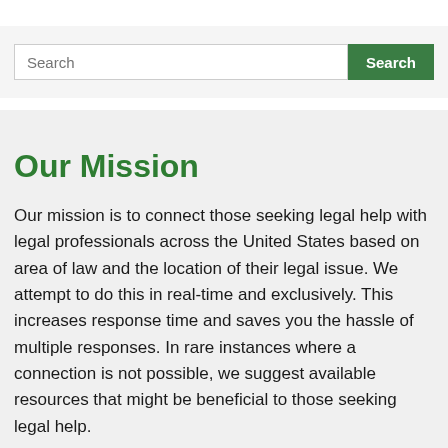[Figure (screenshot): Search bar UI element with text input field labeled 'Search' and a green 'Search' button]
Our Mission
Our mission is to connect those seeking legal help with legal professionals across the United States based on area of law and the location of their legal issue. We attempt to do this in real-time and exclusively. This increases response time and saves you the hassle of multiple responses. In rare instances where a connection is not possible, we suggest available resources that might be beneficial to those seeking legal help.